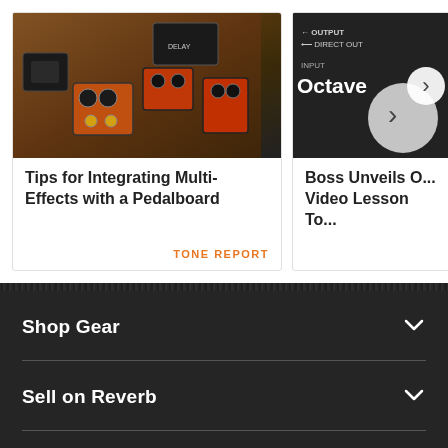[Figure (photo): Guitar effects pedals and pedalboard photo]
Tips for Integrating Multi-Effects with a Pedalboard
TONE REPORT
[Figure (photo): Boss Octave pedal close-up photo]
Boss Unveils O... Video Lesson To...
Shop Gear
Sell on Reverb
Resources